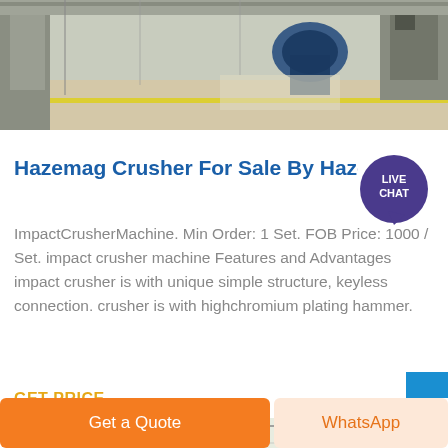[Figure (photo): Industrial factory floor with machinery and equipment, partial view from top of page]
Hazemag Crusher For Sale By Hazemag Cru
ImpactCrusherMachine. Min Order: 1 Set. FOB Price: 1000 / Set. impact crusher machine Features and Advantages impact crusher is with unique simple structure, keyless connection. crusher is with highchromium plating hammer.
GET PRICE
[Figure (photo): Interior of industrial warehouse with overhead crane or machinery visible, partial bottom view]